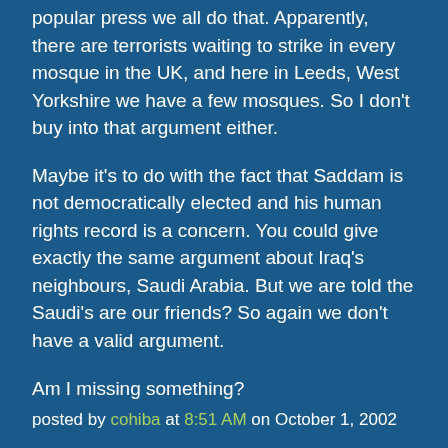popular press we all do that. Apparently, there are terrorists waiting to strike in every mosque in the UK, and here in Leeds, West Yorkshire we have a few mosques. So I don't buy into that argument either.
Maybe it's to do with the fact that Saddam is not democratically elected and his human rights record is a concern. You could give exactly the same argument about Iraq's neighbours, Saudi Arabia. But we are told the Saudi's are our friends? So again we don't have a valid argument.
Am I missing something?
posted by cohiba at 8:51 AM on October 1, 2002
Uh, guys, I don't think the "letter to the editor" was meant as a serious analysis of world affairs. It was what specialists in the field call "a joke." Me, I thought it was pretty funny. If anyone's world view is challenged, they need to take it in to